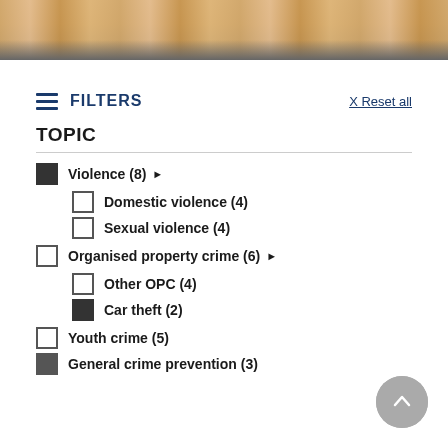[Figure (photo): Photo banner showing wooden blocks/tiles on a dark surface]
FILTERS
X Reset all
TOPIC
Violence (8) ▶
Domestic violence (4)
Sexual violence (4)
Organised property crime (6) ▶
Other OPC (4)
Car theft (2)
Youth crime (5)
General crime prevention (3)